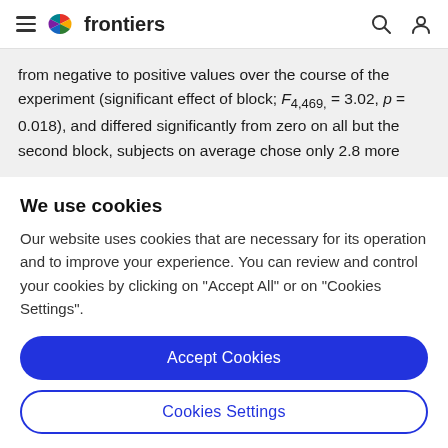frontiers
from negative to positive values over the course of the experiment (significant effect of block; F4,469 = 3.02, p = 0.018), and differed significantly from zero on all but the second block, subjects on average chose only 2.8 more
We use cookies
Our website uses cookies that are necessary for its operation and to improve your experience. You can review and control your cookies by clicking on "Accept All" or on "Cookies Settings".
Accept Cookies
Cookies Settings